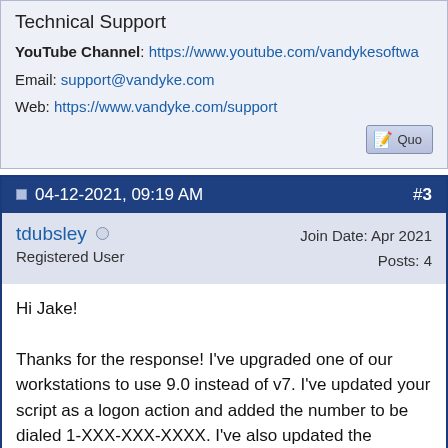Technical Support
YouTube Channel: https://www.youtube.com/vandykesoftwa...
Email: support@vandyke.com
Web: https://www.vandyke.com/support
04-12-2021, 09:19 AM  #3
tdubsley  Registered User  Join Date: Apr 2021  Posts: 4
Hi Jake!

Thanks for the response! I've upgraded one of our workstations to use 9.0 instead of v7. I've updated your script as a logon action and added the number to be dialed 1-XXX-XXX-XXXX. I've also updated the protocol to serial and switched over to COM15 which is where the modem is assigned. I'm getting an 'Init Sequence Failed' error when